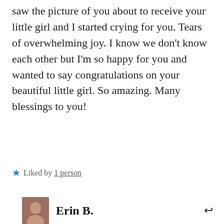saw the picture of you about to receive your little girl and I started crying for you. Tears of overwhelming joy. I know we don't know each other but I'm so happy for you and wanted to say congratulations on your beautiful little girl. So amazing. Many blessings to you!
Liked by 1 person
Erin B.
2 OCT 2018 AT 9:22 PM
Privacy & Cookies: This site uses cookies. By continuing to use this website, you agree to their use. To find out more, including how to control cookies, see here: Cookie Policy
Close and accept
[Figure (screenshot): WordPress footer bar with green background showing 'course with WordPress' text]